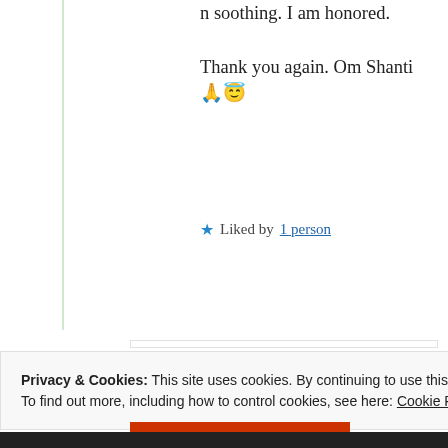n soothing. I am honored.

Thank you again. Om Shanti 🙏😇
★ Liked by 1 person
shivatje
10th Jun 2021 at 8:05 am
Privacy & Cookies: This site uses cookies. By continuing to use this website, you agree to their use.
To find out more, including how to control cookies, see here: Cookie Policy
Close and accept